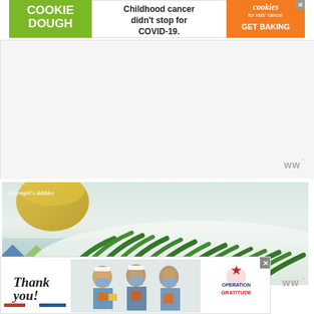[Figure (other): Cookie Dough advertisement banner: green left panel with 'COOKIE DOUGH' text, white center with 'Childhood cancer didn't stop for COVID-19.', orange right panel with cookies for kids cancer logo and 'GET BAKING']
[Figure (other): Large white advertisement placeholder box with Mediavine logo watermark in lower right corner]
[Figure (photo): Food photography showing roasted or sautéed green beans on a white plate, with a glass of white wine in background, on a patterned tablecloth. Watermark reads 'a farmgirl's dabbles']
[Figure (other): Operation Gratitude advertisement banner with 'Thank you!' handwritten text on left, photo of nurses/healthcare workers in middle, Operation Gratitude logo on right]